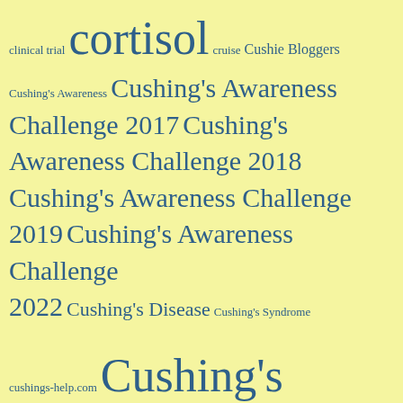[Figure (infographic): Tag cloud / word cloud on pale yellow background featuring terms related to Cushing's disease and awareness, displayed in various font sizes in dark teal/blue color. Terms include: clinical trial, cortisol, cruise, Cushie Bloggers, Cushing's Awareness, Cushing's Awareness Challenge 2017, Cushing's Awareness Challenge 2018, Cushing's Awareness Challenge 2019, Cushing's Awareness Challenge 2022, Cushing's Disease, Cushing's Syndrome, cushings-help.com, Cushing's, Cushing's Awareness Challenge 2020, Cushing's Help, Cyclical Cushing's, diagnosis, doctor, Dr. Harvey Cushing, Dr. Karen Thames, Dr. Theodore Friedman, ectopic, endocrinologist, exercise, fatigue, growth hormone, Growth Hormone Deficiency, handbell, In memory, Internet, Interview, kidney cancer, Ladies Home Journal, MaryO, message boards, MRI]